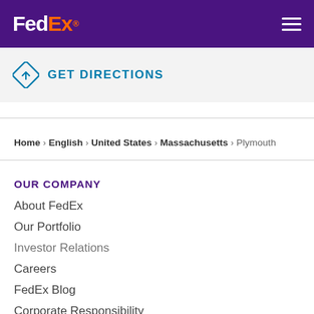[Figure (logo): FedEx logo in white and orange on purple header background]
GET DIRECTIONS
Home > English > United States > Massachusetts > Plymouth
OUR COMPANY
About FedEx
Our Portfolio
Investor Relations
Careers
FedEx Blog
Corporate Responsibility